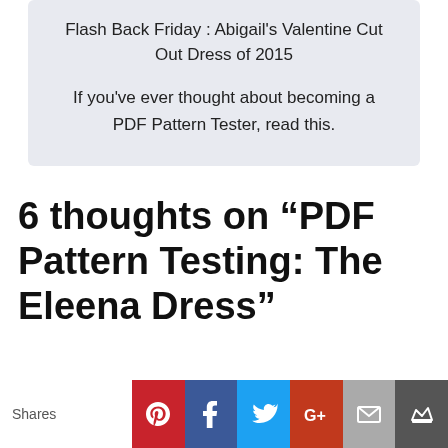Flash Back Friday : Abigail's Valentine Cut Out Dress of 2015

If you've ever thought about becoming a PDF Pattern Tester, read this.
6 thoughts on “PDF Pattern Testing: The Eleena Dress”
Shares